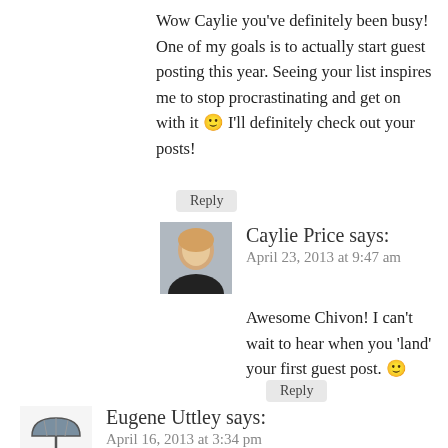Wow Caylie you've definitely been busy! One of my goals is to actually start guest posting this year. Seeing your list inspires me to stop procrastinating and get on with it 🙂 I'll definitely check out your posts!
Reply
[Figure (photo): Avatar photo of Caylie Price, a woman with blonde hair]
Caylie Price says:
April 23, 2013 at 9:47 am
Awesome Chivon! I can't wait to hear when you 'land' your first guest post. 🙂
Reply
[Figure (photo): Avatar image showing a grey umbrella]
Eugene Uttley says:
April 16, 2013 at 3:34 pm
Congrats on following through with your resolution! My site has just passed the 1000 follower mark. Maybe I can attract some guest posters soon.